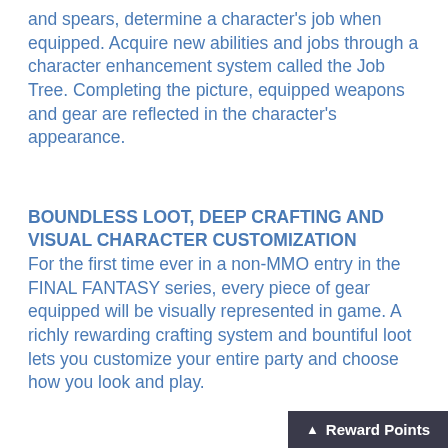and spears, determine a character's job when equipped. Acquire new abilities and jobs through a character enhancement system called the Job Tree. Completing the picture, equipped weapons and gear are reflected in the character's appearance.
BOUNDLESS LOOT, DEEP CRAFTING AND VISUAL CHARACTER CUSTOMIZATION
For the first time ever in a non-MMO entry in the FINAL FANTASY series, every piece of gear equipped will be visually represented in game. A richly rewarding crafting system and bountiful loot lets you customize your entire party and choose how you look and play.
MULTIPLAYER MODE
Experience co-op play in a group of up to 3 players through online multiplayer mode. Enjoy the main story and side missions with your friends.